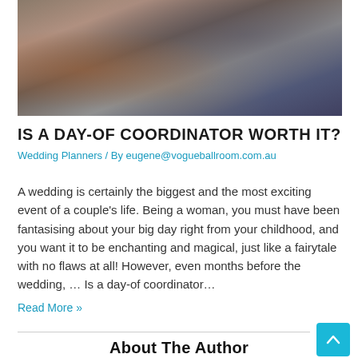[Figure (photo): Two people working together at a laptop on a desk]
IS A DAY-OF COORDINATOR WORTH IT?
Wedding Planners / By eugene@vogueballroom.com.au
A wedding is certainly the biggest and the most exciting event of a couple's life. Being a woman, you must have been fantasising about your big day right from your childhood, and you want it to be enchanting and magical, just like a fairytale with no flaws at all! However, even months before the wedding, … Is a day-of coordinator…
Read More »
About The Author